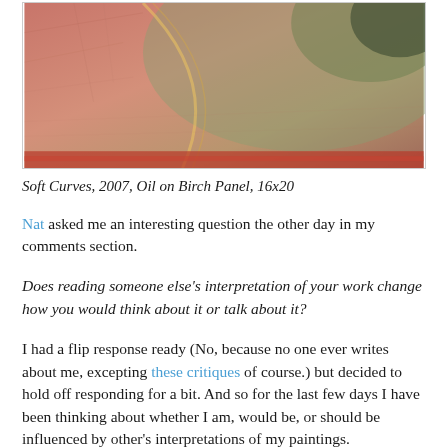[Figure (photo): Close-up photograph of a painting showing warm pinkish-red and muted green tones with soft brushstroke textures and diagonal lines, detail of an abstract/semi-abstract artwork]
Soft Curves, 2007, Oil on Birch Panel, 16x20
Nat asked me an interesting question the other day in my comments section.
Does reading someone else's interpretation of your work change how you would think about it or talk about it?
I had a flip response ready (No, because no one ever writes about me, excepting these critiques of course.) but decided to hold off responding for a bit. And so for the last few days I have been thinking about whether I am, would be, or should be influenced by other's interpretations of my paintings.